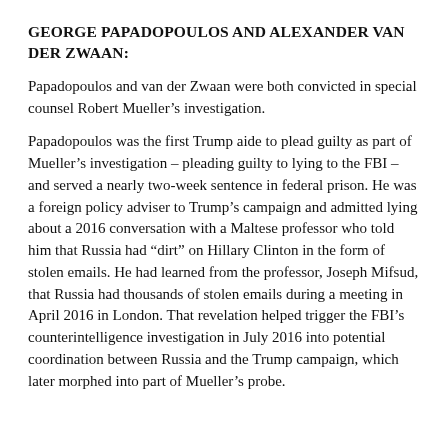GEORGE PAPADOPOULOS AND ALEXANDER VAN DER ZWAAN:
Papadopoulos and van der Zwaan were both convicted in special counsel Robert Mueller’s investigation.
Papadopoulos was the first Trump aide to plead guilty as part of Mueller’s investigation – pleading guilty to lying to the FBI – and served a nearly two-week sentence in federal prison. He was a foreign policy adviser to Trump’s campaign and admitted lying about a 2016 conversation with a Maltese professor who told him that Russia had “dirt” on Hillary Clinton in the form of stolen emails. He had learned from the professor, Joseph Mifsud, that Russia had thousands of stolen emails during a meeting in April 2016 in London. That revelation helped trigger the FBI’s counterintelligence investigation in July 2016 into potential coordination between Russia and the Trump campaign, which later morphed into part of Mueller’s probe.